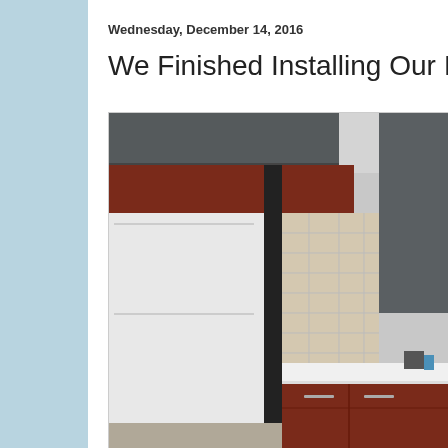Wednesday, December 14, 2016
We Finished Installing Our Ikea Kitchen
[Figure (photo): Interior photo of a kitchen showing dark grey upper cabinets, a white refrigerator with a black frame column, reddish-brown lower cabinet panels, beige wall tiles, and a white countertop with some items on it.]